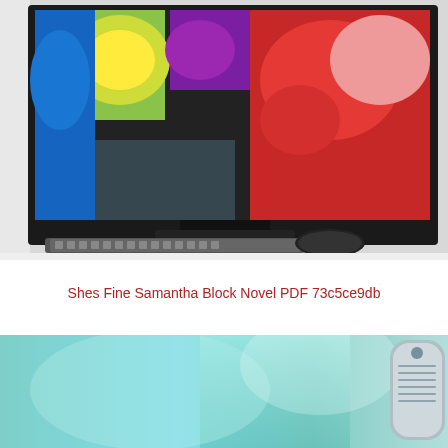[Figure (photo): Photo of a flat-screen TV/monitor displaying colorful floral imagery, with a keyboard and remote control in the foreground on a white surface.]
Shes Fine Samantha Block Novel PDF 73c5ce9db
[Figure (photo): Photo with a teal/turquoise gradient background showing a smart speaker or similar device on the right side.]